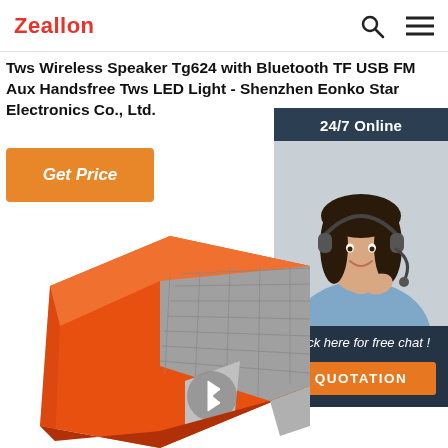Zeallon
Tws Wireless Speaker Tg624 with Bluetooth TF USB FM Aux Handsfree Tws LED Light - Shenzhen Eonko Star Electronics Co., Ltd.
Get Price
[Figure (screenshot): 24/7 Online support widget with a customer service representative wearing a headset, and a 'Click here for free chat!' message with a QUOTATION button]
[Figure (photo): Orange/red Bluetooth speaker TG624 with mesh grille and Bluetooth logo, viewed from an angle showing the top and front face]